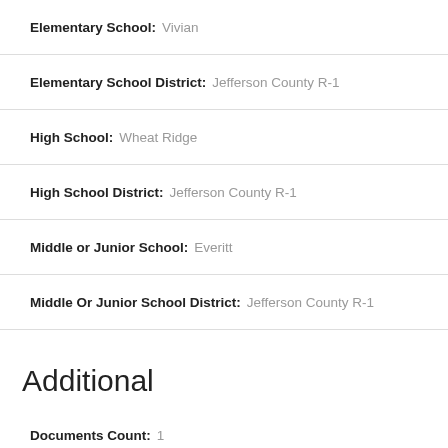Elementary School: Vivian
Elementary School District: Jefferson County R-1
High School: Wheat Ridge
High School District: Jefferson County R-1
Middle or Junior School: Everitt
Middle Or Junior School District: Jefferson County R-1
Additional
Documents Count: 1
Property Condition: Updated/Remodeled
Property Sub Type Additional: Single Family Residence
Senior Community: no